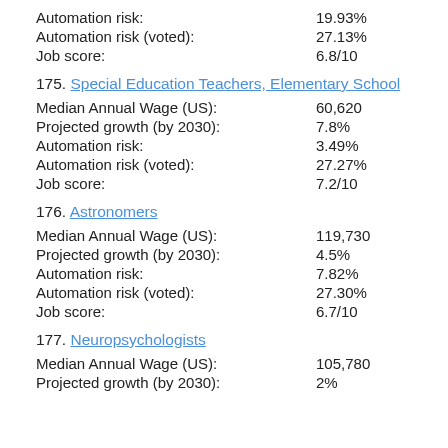Automation risk: 19.93%
Automation risk (voted): 27.13%
Job score: 6.8/10
175. Special Education Teachers, Elementary School
Median Annual Wage (US): 60,620
Projected growth (by 2030): 7.8%
Automation risk: 3.49%
Automation risk (voted): 27.27%
Job score: 7.2/10
176. Astronomers
Median Annual Wage (US): 119,730
Projected growth (by 2030): 4.5%
Automation risk: 7.82%
Automation risk (voted): 27.30%
Job score: 6.7/10
177. Neuropsychologists
Median Annual Wage (US): 105,780
Projected growth (by 2030): 2%